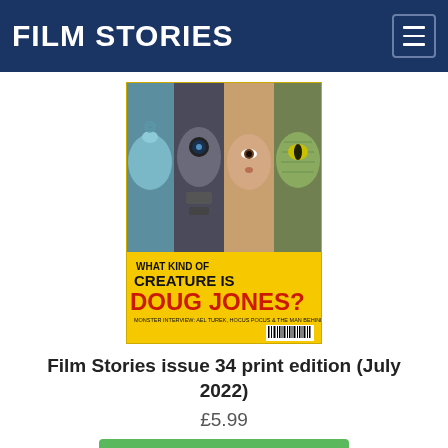FILM STORIES
[Figure (illustration): Magazine cover for Film Stories issue 34. Yellow background with four panels showing different creature/monster faces and makeup effects. Text reads: WHAT KIND OF CREATURE IS DOUG JONES? Monster Interview: Ael Turek, Hocus Pocus & The Man Behind The Mask. Barcode visible at bottom right.]
Film Stories issue 34 print edition (July 2022)
£5.99
Add to cart